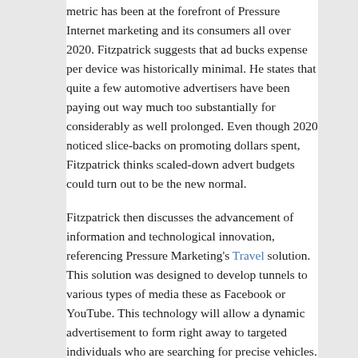metric has been at the forefront of Pressure Internet marketing and its consumers all over 2020. Fitzpatrick suggests that ad bucks expense per device was historically minimal. He states that quite a few automotive advertisers have been paying out way much too substantially for considerably as well prolonged. Even though 2020 noticed slice-backs on promoting dollars spent, Fitzpatrick thinks scaled-down advert budgets could turn out to be the new normal.
Fitzpatrick then discusses the advancement of information and technological innovation, referencing Pressure Marketing's Travel solution. This solution was designed to develop tunnels to various types of media these as Facebook or YouTube. This technology will allow a dynamic advertisement to form right away to targeted individuals who are searching for precise vehicles. Fitzpatrick says the development of streaming has opened a single of the largest audiences for sellers.